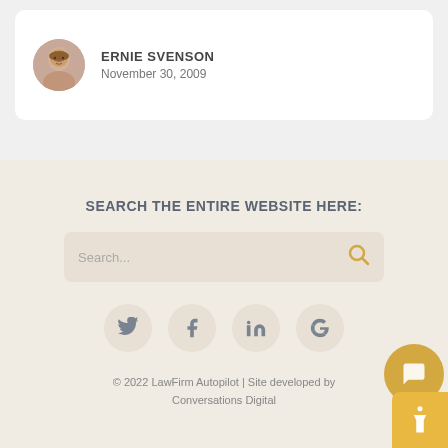[Figure (photo): Circular avatar photo of Ernie Svenson, a middle-aged man smiling]
ERNIE SVENSON
November 30, 2009
SEARCH THE ENTIRE WEBSITE HERE:
Search...
[Figure (infographic): Social media icons: Twitter, Facebook, LinkedIn, Google in circular buttons]
© 2022 LawFirm Autopilot | Site developed by Conversations Digital